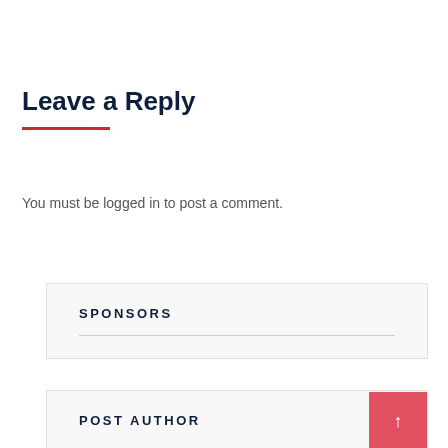Leave a Reply
You must be logged in to post a comment.
SPONSORS
POST AUTHOR